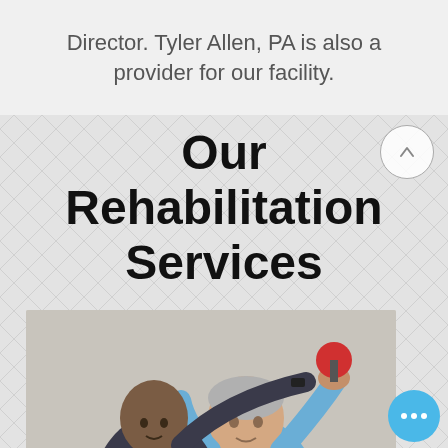Director. Tyler Allen, PA is also a provider for our facility.
Our Rehabilitation Services
[Figure (photo): A physical therapist (younger man, shaved head, dark shirt) assists an elderly man in a blue polo shirt performing a shoulder rehabilitation exercise with a red dumbbell raised overhead.]